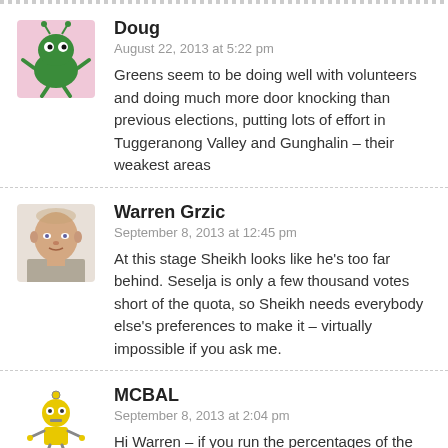[Figure (illustration): Avatar of Doug – cartoon green monster on pink background]
Doug
August 22, 2013 at 5:22 pm
Greens seem to be doing well with volunteers and doing much more door knocking than previous elections, putting lots of effort in Tuggeranong Valley and Gunghalin – their weakest areas
[Figure (photo): Avatar of Warren Grzic – photo of bald middle-aged man]
Warren Grzic
September 8, 2013 at 12:45 pm
At this stage Sheikh looks like he's too far behind. Seselja is only a few thousand votes short of the quota, so Sheikh needs everybody else's preferences to make it – virtually impossible if you ask me.
[Figure (illustration): Avatar of MCBAL – cartoon yellow robot alien]
MCBAL
September 8, 2013 at 2:04 pm
Hi Warren – if you run the percentages of the ALP, LIB and GRN vote through the ABC Senate calculator,